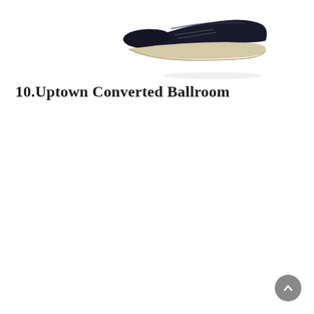[Figure (photo): Partial view of a shoe (appears to be a dress shoe or oxford), cropped, showing the toe and upper portion against a white background. The shoe has a dark (black or navy) upper and a light/beige sole.]
10.Uptown Converted Ballroom